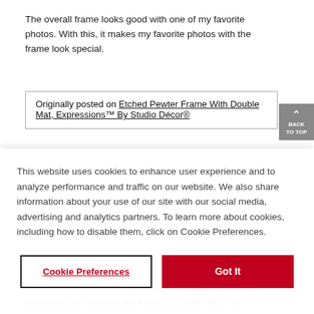The overall frame looks good with one of my favorite photos. With this, it makes my favorite photos with the frame look special.
Originally posted on Etched Pewter Frame With Double Mat, Expressions™ By Studio Décor®
This website uses cookies to enhance user experience and to analyze performance and traffic on our website. We also share information about your use of our site with our social media, advertising and analytics partners. To learn more about cookies, including how to disable them, click on Cookie Preferences.
Cookie Preferences
Got It
A well constructed and stylish frame that was perfect for displaying the memory we wished to share with the